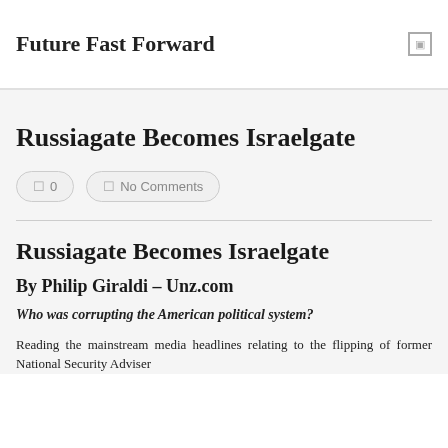Future Fast Forward
Russiagate Becomes Israelgate
0  No Comments
Russiagate Becomes Israelgate
By Philip Giraldi – Unz.com
Who was corrupting the American political system?
Reading the mainstream media headlines relating to the flipping of former National Security Adviser